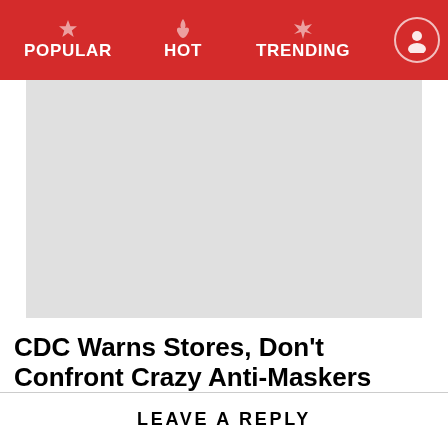POPULAR  HOT  TRENDING
[Figure (photo): Light gray image placeholder rectangle]
CDC Warns Stores, Don't Confront Crazy Anti-Maskers
LEAVE A REPLY